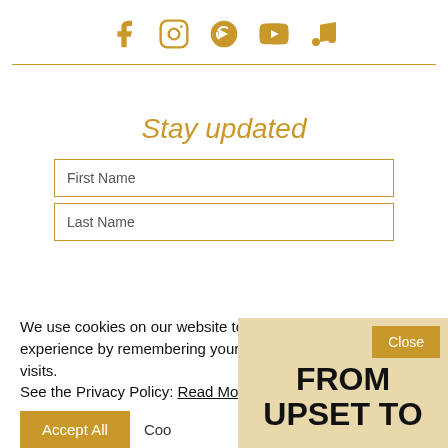[Figure (other): Social media icons row: Facebook, Instagram, Spotify, YouTube, Music note — all in gold color]
Stay updated
First Name
Last Name
We use cookies on our website to give you the most relevant experience by remembering your preferences and repeat visits.
See the Privacy Policy: Read More
Accept All
Cookie Settings
Close
FROM UPSET TO